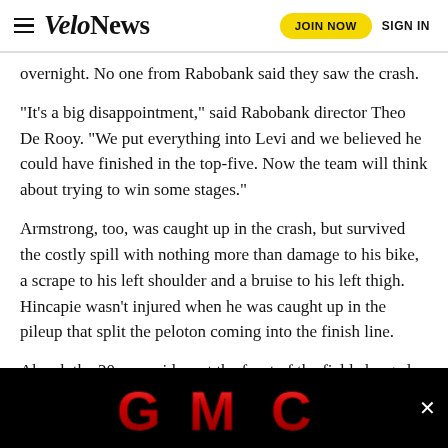VeloNews | JOIN NOW | SIGN IN
overnight. No one from Rabobank said they saw the crash.
“It’s a big disappointment,” said Rabobank director Theo De Rooy. “We put everything into Levi and we believed he could have finished in the top-five. Now the team will think about trying to win some stages.”
Armstrong, too, was caught up in the crash, but survived the costly spill with nothing more than damage to his bike, a scrape to his left shoulder and a bruise to his left thigh. Hincapie wasn’t injured when he was caught up in the pileup that split the peloton coming into the finish line.
Ahead, the 20 or so riders at the front of the field charged toward the line. Lorem data in Tondo For... pitting the best ... echi,
[Figure (logo): GMC logo advertisement banner in black background with red metallic GMC lettering]